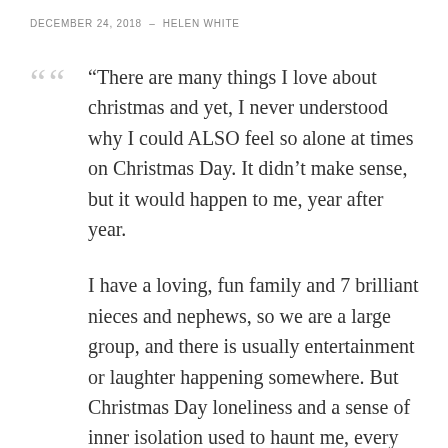DECEMBER 24, 2018  –  HELEN WHITE
“There are many things I love about christmas and yet, I never understood why I could ALSO feel so alone at times on Christmas Day. It didn’t make sense, but it would happen to me, year after year.

I have a loving, fun family and 7 brilliant nieces and nephews, so we are a large group, and there is usually entertainment or laughter happening somewhere. But Christmas Day loneliness and a sense of inner isolation used to haunt me, every year. I could be fine and enjoying myself for hours, then all of a sudden, bam, it would hit me.” Lee Harris (you can read the rest of the post, which opened a big discussion last year, here).